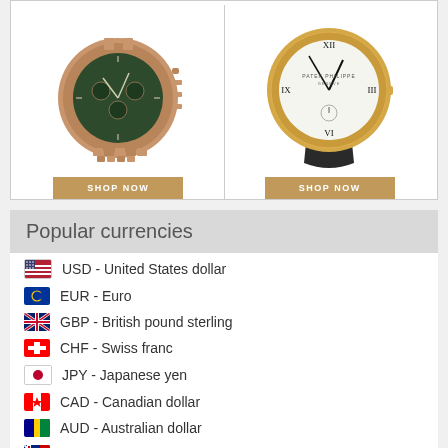[Figure (photo): Two luxury watches with SHOP NOW buttons - left is a rose gold chronograph with green dial, right is a gold Patek Philippe with white dial and leather strap]
Popular currencies
USD - United States dollar
EUR - Euro
GBP - British pound sterling
CHF - Swiss franc
JPY - Japanese yen
CAD - Canadian dollar
AUD - Australian dollar
NZD - New Zealand dollar
BRL - Brazilian real
CNY - Chinese yuan renminbi